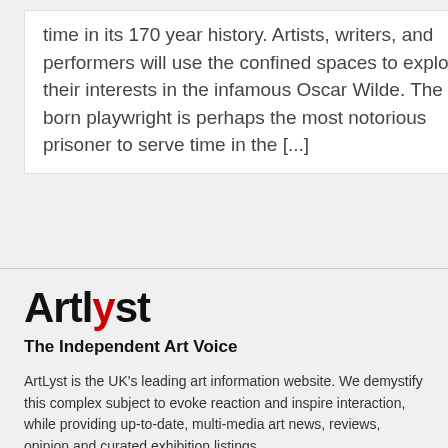time in its 170 year history. Artists, writers, and performers will use the confined spaces to explore their interests in the infamous Oscar Wilde. The Irish born playwright is perhaps the most notorious prisoner to serve time in the [...]
[Figure (logo): Artlyst logo with red 'l' letter]
The Independent Art Voice
ArtLyst is the UK's leading art information website. We demystify this complex subject to evoke reaction and inspire interaction, while providing up-to-date, multi-media art news, reviews, opinion and curated exhibition listings.